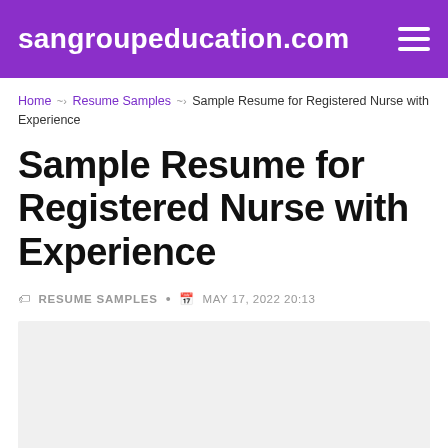sangroupeducation.com
Home > Resume Samples > Sample Resume for Registered Nurse with Experience
Sample Resume for Registered Nurse with Experience
RESUME SAMPLES · MAY 17, 2022 20:13
[Figure (other): Light grey placeholder image area for resume content]